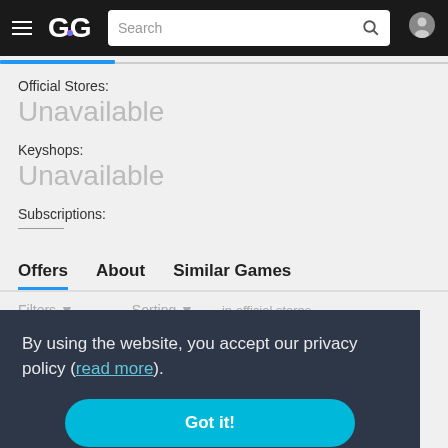[Figure (screenshot): Navigation bar with hamburger menu, GG logo, search bar, and user icon]
Official Stores:
Unavailable
Keyshops:
Unavailable
Subscriptions:
Offers   About   Similar Games
By using the website, you accept our privacy policy (read more).
Got it!